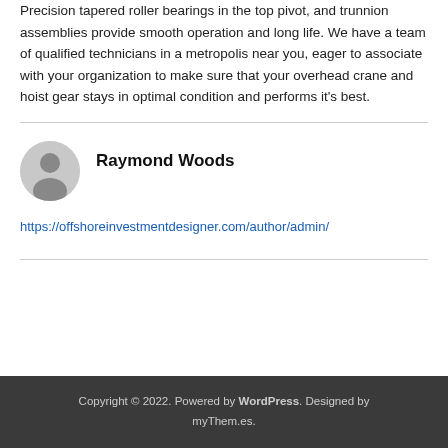Precision tapered roller bearings in the top pivot, and trunnion assemblies provide smooth operation and long life. We have a team of qualified technicians in a metropolis near you, eager to associate with your organization to make sure that your overhead crane and hoist gear stays in optimal condition and performs it's best.
Raymond Woods
https://offshoreinvestmentdesigner.com/author/admin/
Copyright © 2022. Powered by WordPress. Designed by myThem.es.